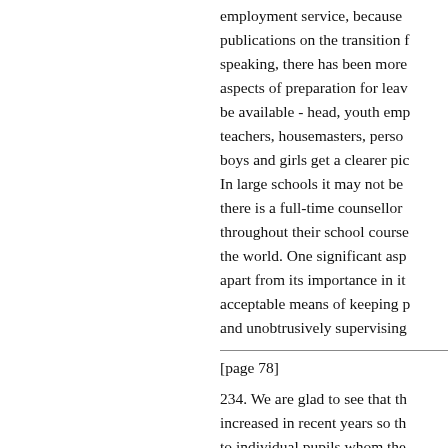employment service, because publications on the transition f speaking, there has been more aspects of preparation for leav be available - head, youth emp teachers, housemasters, perso boys and girls get a clearer pic In large schools it may not be there is a full-time counsellor throughout their school course the world. One significant asp apart from its importance in it acceptable means of keeping p and unobtrusively supervising
[page 78]
234. We are glad to see that th increased in recent years so th to individual pupils whom the opportunities for further educa however. For instance, the law leavers which headmasters ma officers. This particularly ham